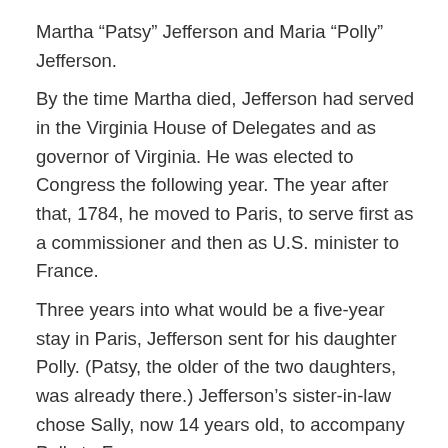Martha “Patsy” Jefferson and Maria “Polly” Jefferson. By the time Martha died, Jefferson had served in the Virginia House of Delegates and as governor of Virginia. He was elected to Congress the following year. The year after that, 1784, he moved to Paris, to serve first as a commissioner and then as U.S. minister to France. Three years into what would be a five-year stay in Paris, Jefferson sent for his daughter Polly. (Patsy, the older of the two daughters, was already there.) Jefferson’s sister-in-law chose Sally, now 14 years old, to accompany Polly to France. In Paris, Polly and Patsy lived mostly at a prestigious convent where they attended school, the Abbaye Royale de Panthemont. Sally died, but Jefferson resided at the Hotel